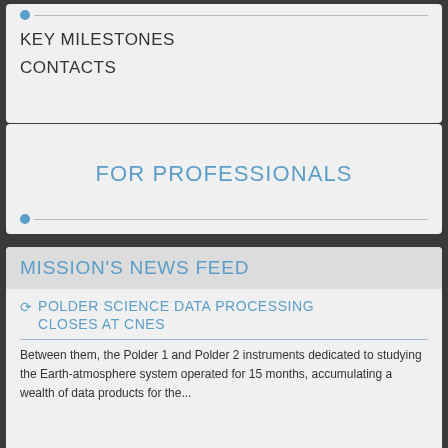KEY MILESTONES
CONTACTS
FOR PROFESSIONALS
MISSION'S NEWS FEED
POLDER SCIENCE DATA PROCESSING CLOSES AT CNES
Between them, the Polder 1 and Polder 2 instruments dedicated to studying the Earth-atmosphere system operated for 15 months, accumulating a wealth of data products for the...